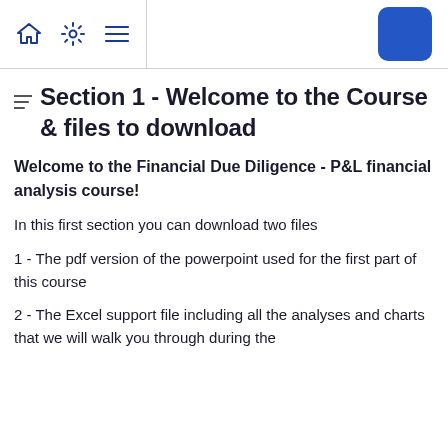[Figure (screenshot): Top navigation bar with home icon, settings gear icon, hamburger menu icon (left section separated by vertical line), and a blue rounded rectangle button on the right]
Section 1 - Welcome to the Course & files to download
Welcome to the Financial Due Diligence - P&L financial analysis course!
In this first section you can download two files
1 - The pdf version of the powerpoint used for the first part of this course
2 - The Excel support file including all the analyses and charts that we will walk you through during the